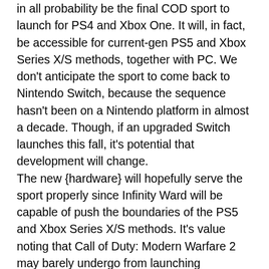in all probability be the final COD sport to launch for PS4 and Xbox One. It will, in fact, be accessible for current-gen PS5 and Xbox Series X/S methods, together with PC. We don't anticipate the sport to come back to Nintendo Switch, because the sequence hasn't been on a Nintendo platform in almost a decade. Though, if an upgraded Switch launches this fall, it's potential that development will change.
The new {hardware} will hopefully serve the sport properly since Infinity Ward will be capable of push the boundaries of the PS5 and Xbox Series X/S methods. It's value noting that Call of Duty: Modern Warfare 2 may barely undergo from launching throughout a number of generations of consoles, simply as Warzone and plenty of different video games have earlier than.
It's additionally necessary to notice that despite the fact that Microsoft will probably be buying Activision, the present COD video games in growth will nonetheless